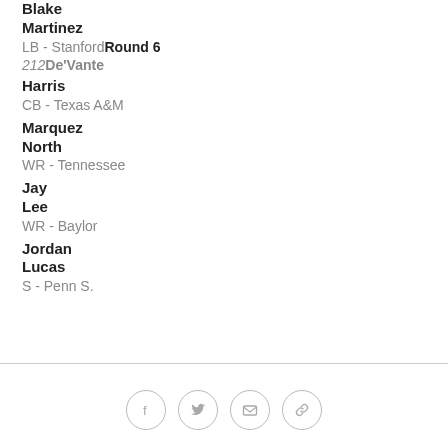Blake Martinez
LB - Stanford Round 6
212 De'Vante
De'Vante Harris
CB - Texas A&M
Marquez North
WR - Tennessee
Jay Lee
WR - Baylor
Jordan Lucas
S - Penn S.